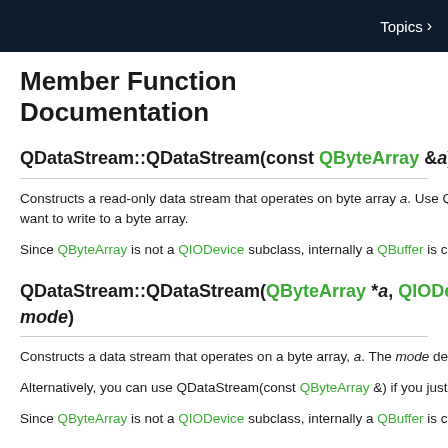Topics >
Member Function Documentation
QDataStream::QDataStream(const QByteArray &a)
Constructs a read-only data stream that operates on byte array a. Use Q… want to write to a byte array.
Since QByteArray is not a QIODevice subclass, internally a QBuffer is crea…
QDataStream::QDataStream(QByteArray *a, QIODev… mode)
Constructs a data stream that operates on a byte array, a. The mode desc…
Alternatively, you can use QDataStream(const QByteArray &) if you just w…
Since QByteArray is not a QIODevice subclass, internally a QBuffer is crea…